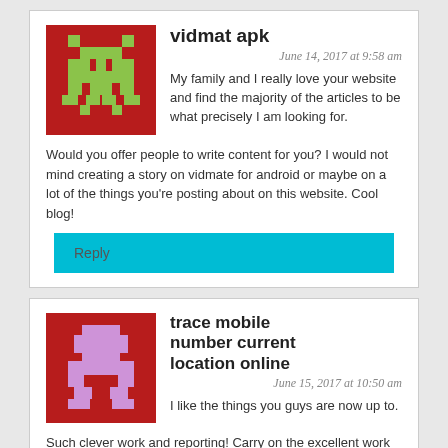[Figure (illustration): Pixel art avatar: dark red background with green space-invader style character]
vidmat apk
June 14, 2017 at 9:58 am
My family and I really love your website and find the majority of the articles to be what precisely I am looking for. Would you offer people to write content for you? I would not mind creating a story on vidmate for android or maybe on a lot of the things you're posting about on this website. Cool blog!
Reply
[Figure (illustration): Pixel art avatar: dark red background with purple/pink robot-style character]
trace mobile number current location online
June 15, 2017 at 10:50 am
I like the things you guys are now up to. Such clever work and reporting! Carry on the excellent work friends, I have incorporated you to my personal trace mobile